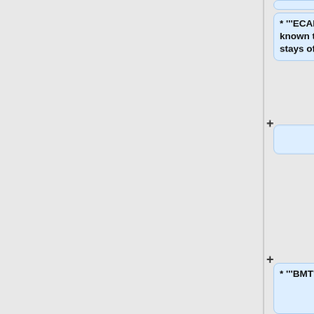* """ECAL""" HV SEC2_WI_E36 is known to be problematic. Channel stays off for now.
* """BMT""" off: histogram occupancy Z, layer 3, sector 1, detetcor 7, S1L3 strip HV is off due to high leakage, https://logbooks.jlab.org/entry/3970886
* """BMT""" off: histogram